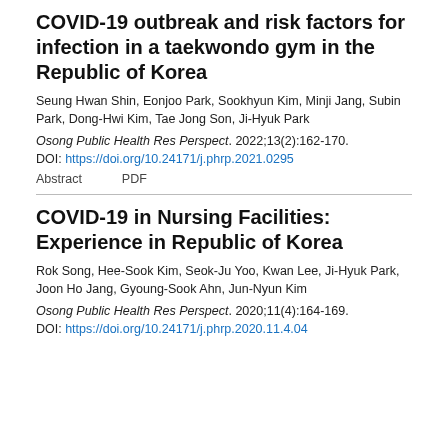COVID-19 outbreak and risk factors for infection in a taekwondo gym in the Republic of Korea
Seung Hwan Shin, Eonjoo Park, Sookhyun Kim, Minji Jang, Subin Park, Dong-Hwi Kim, Tae Jong Son, Ji-Hyuk Park
Osong Public Health Res Perspect. 2022;13(2):162-170.
DOI: https://doi.org/10.24171/j.phrp.2021.0295
Abstract   PDF
COVID-19 in Nursing Facilities: Experience in Republic of Korea
Rok Song, Hee-Sook Kim, Seok-Ju Yoo, Kwan Lee, Ji-Hyuk Park, Joon Ho Jang, Gyoung-Sook Ahn, Jun-Nyun Kim
Osong Public Health Res Perspect. 2020;11(4):164-169.
DOI: https://doi.org/10.24171/j.phrp.2020.11.4.04